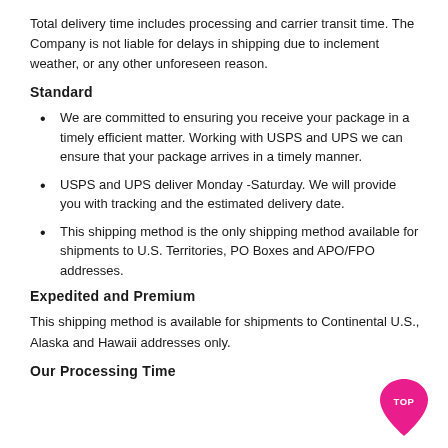Total delivery time includes processing and carrier transit time. The Company is not liable for delays in shipping due to inclement weather, or any other unforeseen reason.
Standard
We are committed to ensuring you receive your package in a timely efficient matter. Working with USPS and UPS we can ensure that your package arrives in a timely manner.
USPS and UPS deliver Monday -Saturday. We will provide you with tracking and the estimated delivery date.
This shipping method is the only shipping method available for shipments to U.S. Territories, PO Boxes and APO/FPO addresses.
Expedited and Premium
This shipping method is available for shipments to Continental U.S., Alaska and Hawaii addresses only.
Our Processing Time